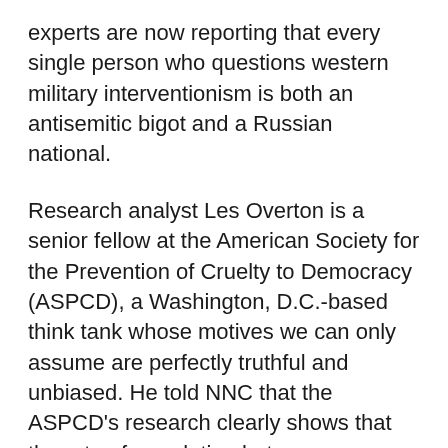experts are now reporting that every single person who questions western military interventionism is both an antisemitic bigot and a Russian national.
Research analyst Les Overton is a senior fellow at the American Society for the Prevention of Cruelty to Democracy (ASPCD), a Washington, D.C.-based think tank whose motives we can only assume are perfectly truthful and unbiased. He told NNC that the ASPCD's research clearly shows that the rate of correlation between an individual opposing western foreign policy, harboring a virulent hatred of Jewish people, and being a citizen of the Russian Federation is "at least a hundred percent, if not more."